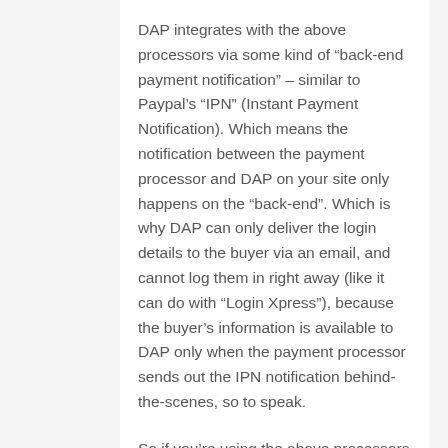DAP integrates with the above processors via some kind of “back-end payment notification” – similar to Paypal’s “IPN” (Instant Payment Notification). Which means the notification between the payment processor and DAP on your site only happens on the “back-end”. Which is why DAP can only deliver the login details to the buyer via an email, and cannot log them in right away (like it can do with “Login Xpress”), because the buyer’s information is available to DAP only when the payment processor sends out the IPN notification behind-the-scenes, so to speak.
So if you’re using the above processors to